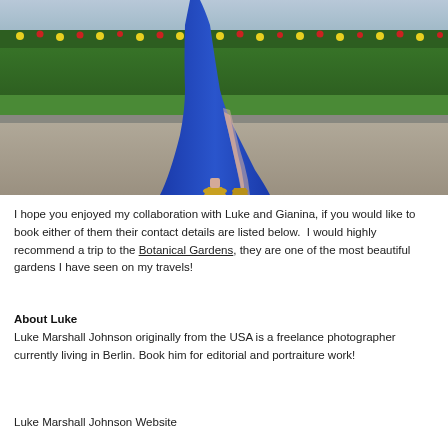[Figure (photo): A woman in a blue floor-length gown with a slit, wearing gold heels, photographed from the waist down in a garden setting with green grass and colorful flower beds in the background.]
I hope you enjoyed my collaboration with Luke and Gianina, if you would like to book either of them their contact details are listed below.  I would highly recommend a trip to the Botanical Gardens, they are one of the most beautiful gardens I have seen on my travels!
About Luke
Luke Marshall Johnson originally from the USA is a freelance photographer currently living in Berlin. Book him for editorial and portraiture work!
Luke Marshall Johnson Website